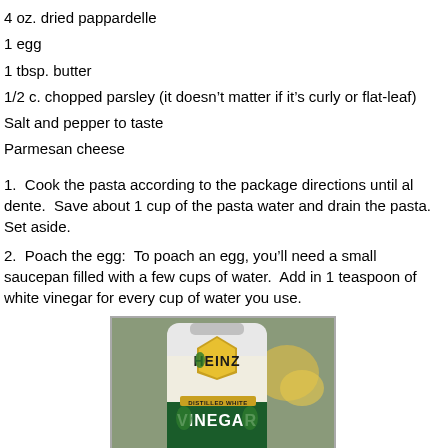4 oz. dried pappardelle
1 egg
1 tbsp. butter
1/2 c. chopped parsley (it doesn’t matter if it’s curly or flat-leaf)
Salt and pepper to taste
Parmesan cheese
1.  Cook the pasta according to the package directions until al dente.  Save about 1 cup of the pasta water and drain the pasta.  Set aside.
2.  Poach the egg:  To poach an egg, you’ll need a small saucepan filled with a few cups of water.  Add in 1 teaspoon of white vinegar for every cup of water you use.
[Figure (photo): Photo of a Heinz Distilled White Vinegar bottle]